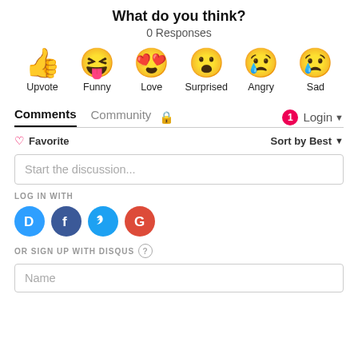What do you think?
0 Responses
[Figure (infographic): Six emoji reaction buttons: thumbs up (Upvote), laughing face with tongue (Funny), heart-eyes face (Love), surprised face (Surprised), crying/angry face (Angry), sad face with tear (Sad)]
Comments  Community  [lock icon]  [notification badge 1]  Login
♡ Favorite   Sort by Best
Start the discussion...
LOG IN WITH
[Figure (logo): Four social login icons: Disqus (D), Facebook (F), Twitter bird, Google (G)]
OR SIGN UP WITH DISQUS ?
Name